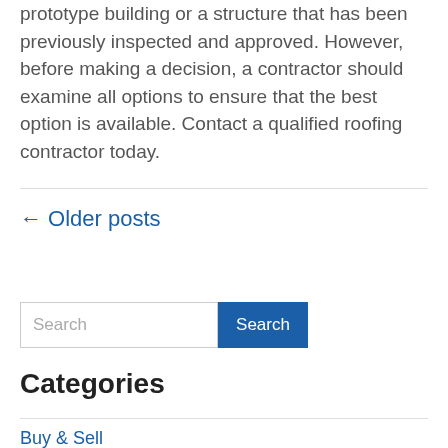prototype building or a structure that has been previously inspected and approved. However, before making a decision, a contractor should examine all options to ensure that the best option is available. Contact a qualified roofing contractor today.
← Older posts
Search
Categories
Buy & Sell